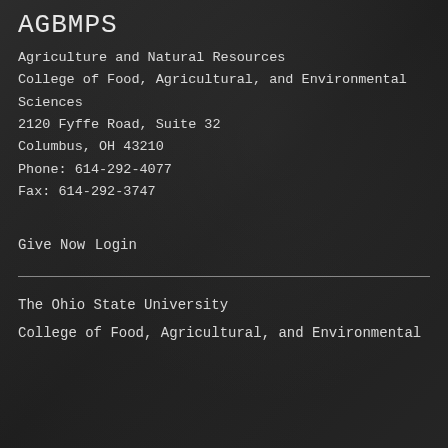AGBMPS
Agriculture and Natural Resources
College of Food, Agricultural, and Environmental Sciences
2120 Fyffe Road, Suite 32
Columbus, OH 43210
Phone: 614-292-4077
Fax: 614-292-3747
Give Now
Login
The Ohio State University
College of Food, Agricultural, and Environmental